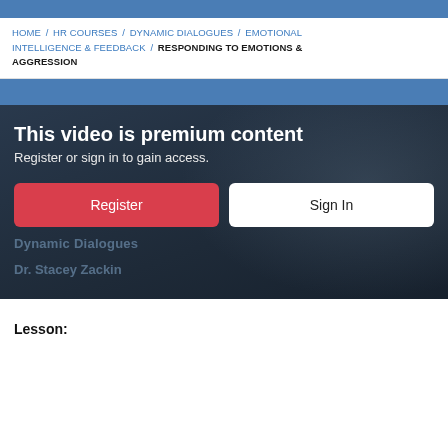HOME / HR COURSES / DYNAMIC DIALOGUES / EMOTIONAL INTELLIGENCE & FEEDBACK / RESPONDING TO EMOTIONS & AGGRESSION
[Figure (screenshot): Video premium content overlay on a dark background showing a presenter. Contains title 'This video is premium content', subtitle 'Register or sign in to gain access.', a red Register button, and a white Sign In button. Watermark text shows 'Dynamic Dialogues' and 'Dr. Stacey Zackin'.]
Lesson: